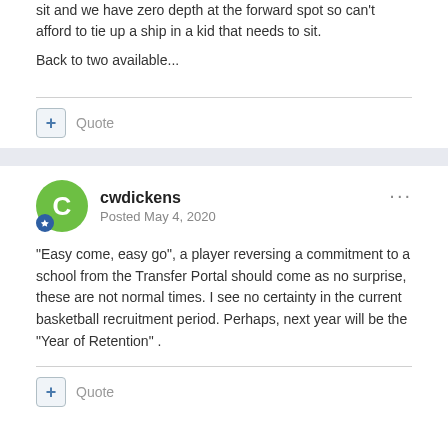sit and we have zero depth at the forward spot so can't afford to tie up a ship in a kid that needs to sit.
Back to two available...
cwdickens
Posted May 4, 2020
"Easy come, easy go", a player reversing a commitment to a school from the Transfer Portal should come as no surprise, these are not normal times.  I see no certainty in the current basketball ￼recruitment period. Perhaps, next year will be the "Year of Retention" .